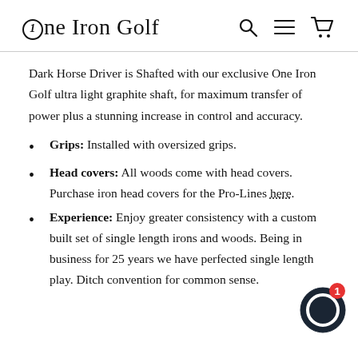One Iron Golf
Dark Horse Driver is Shafted with our exclusive One Iron Golf ultra light graphite shaft, for maximum transfer of power plus a stunning increase in control and accuracy.
Grips: Installed with oversized grips.
Head covers: All woods come with head covers. Purchase iron head covers for the Pro-Lines here.
Experience: Enjoy greater consistency with a custom built set of single length irons and woods. Being in business for 25 years we have perfected single length play. Ditch convention for common sense.